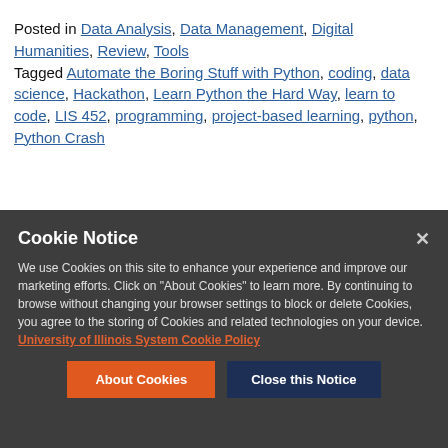Posted in Data Analysis, Data Management, Digital Humanities, Review, Tools
Tagged Automate the Boring Stuff with Python, coding, data science, Hackathon, Learn Python the Hard Way, learn to code, LIS 452, programming, project-based learning, python, Python Crash
Cookie Notice
We use Cookies on this site to enhance your experience and improve our marketing efforts. Click on "About Cookies" to learn more. By continuing to browse without changing your browser settings to block or delete Cookies, you agree to the storing of Cookies and related technologies on your device. University of Illinois System Cookie Policy